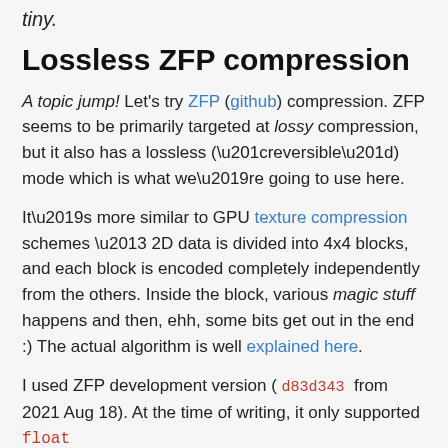tiny.
Lossless ZFP compression
A topic jump! Let's try ZFP (github) compression. ZFP seems to be primarily targeted at lossy compression, but it also has a lossless (“reversible”) mode which is what we’re going to use here.
It’s more similar to GPU texture compression schemes – 2D data is divided into 4x4 blocks, and each block is encoded completely independently from the others. Inside the block, various magic stuff happens and then, ehh, some bits get out in the end :) The actual algorithm is well explained here.
I used ZFP development version ( d83d343 from 2021 Aug 18). At the time of writing, it only supported float